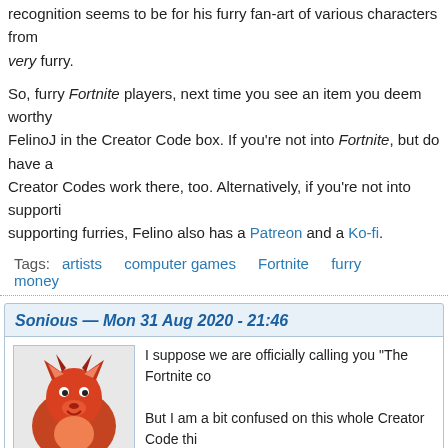recognition seems to be for his furry fan-art of various characters from [cut off] very furry.
So, furry Fortnite players, next time you see an item you deem worthy [cut off] FelinoJ in the Creator Code box. If you're not into Fortnite, but do have a [cut off] Creator Codes work there, too. Alternatively, if you're not into supporti[cut off] supporting furries, Felino also has a Patreon and a Ko-fi.
Tags: artists  computer games  Fortnite  furry  money
Sonious — Mon 31 Aug 2020 - 21:46
I suppose we are officially calling you "The Fortnite co[cut off]

But I am a bit confused on this whole Creator Code thi[cut off] there that have been missed, so if you are aware of a[cut off]
[Figure (illustration): Avatar of user Sonious: red furry dragon character illustration]
[Figure (illustration): Row of small icon buttons: home, pencil, circle-D, paw, recycle, wordpress, twitter]
Ben Dover — Tue 1 Sep 2020 - 09:33
Nice digging!
[Figure (illustration): Avatar of user Ben Dover: cartoon child in brown bear costume]